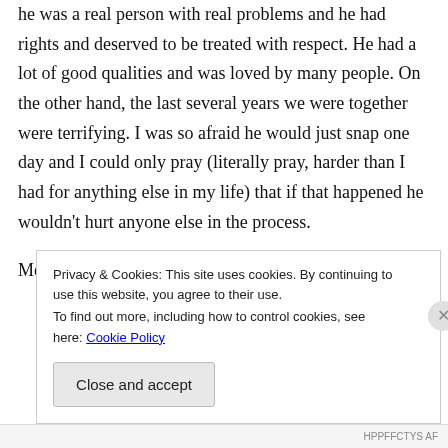he was a real person with real problems and he had rights and deserved to be treated with respect. He had a lot of good qualities and was loved by many people. On the other hand, the last several years we were together were terrifying. I was so afraid he would just snap one day and I could only pray (literally pray, harder than I had for anything else in my life) that if that happened he wouldn't hurt anyone else in the process.
Mental illnesses of all sorts (Alzheimer's, etc.)
Privacy & Cookies: This site uses cookies. By continuing to use this website, you agree to their use.
To find out more, including how to control cookies, see here: Cookie Policy
Close and accept